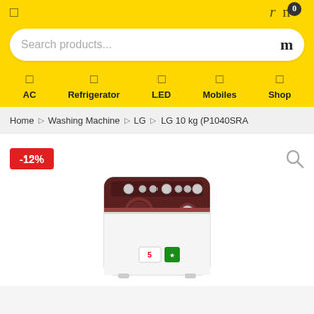Navigation header with search bar and category icons: AC, Refrigerator, LED, Mobiles, Shop
Home > Washing Machine > LG > LG 10 kg (P1040SRA
-12%
[Figure (photo): LG semi-automatic washing machine top-load product image, white with maroon/dark lid]